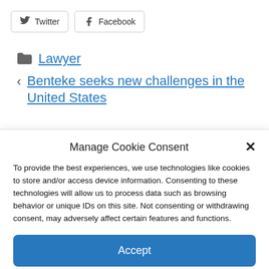[Figure (other): Twitter share button with bird icon]
[Figure (other): Facebook share button with f icon]
📁 Lawyer
< Benteke seeks new challenges in the United States
Manage Cookie Consent
To provide the best experiences, we use technologies like cookies to store and/or access device information. Consenting to these technologies will allow us to process data such as browsing behavior or unique IDs on this site. Not consenting or withdrawing consent, may adversely affect certain features and functions.
Accept
Cookie Policy